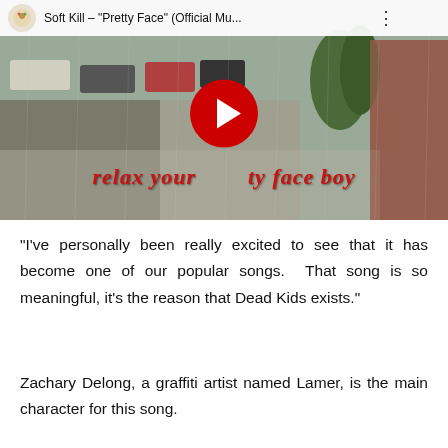[Figure (screenshot): YouTube video thumbnail for Soft Kill - 'Pretty Face' (Official Mu...) showing a rainy street scene with lyric text 'relax your pretty face boy' overlaid in red gothic font, and a YouTube play button in the center.]
“I’ve personally been really excited to see that it has become one of our popular songs.  That song is so meaningful, it’s the reason that Dead Kids exists.”
Zachary Delong, a graffiti artist named Lamer, is the main character for this song.